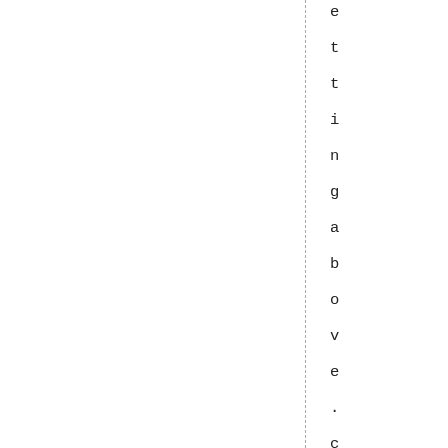etting above .complete with handma